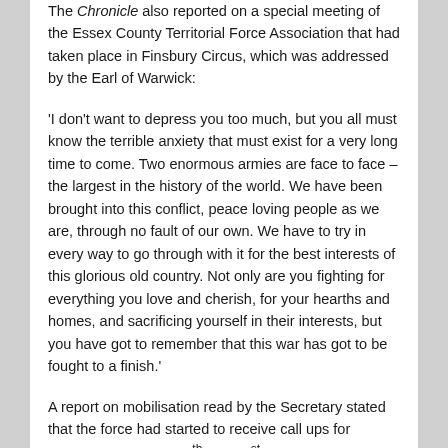The Chronicle also reported on a special meeting of the Essex County Territorial Force Association that had taken place in Finsbury Circus, which was addressed by the Earl of Warwick:
'I don't want to depress you too much, but you all must know the terrible anxiety that must exist for a very long time to come. Two enormous armies are face to face – the largest in the history of the world. We have been brought into this conflict, peace loving people as we are, through no fault of our own. We have to try in every way to go through with it for the best interests of this glorious old country. Not only are you fighting for everything you love and cherish, for your hearths and homes, and sacrificing yourself in their interests, but you have got to remember that this war has got to be fought to a finish.'
A report on mobilisation read by the Secretary stated that the force had started to receive call ups for various sections on 30th and 31st July and that 'in the county of Essex they had been as prompt as any other county in England. All the Territorial Battalions were now mobilised'